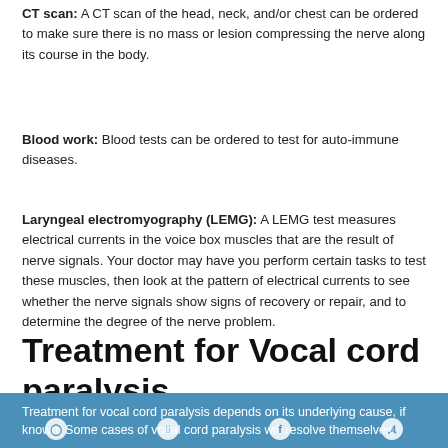CT scan: A CT scan of the head, neck, and/or chest can be ordered to make sure there is no mass or lesion compressing the nerve along its course in the body.
Blood work: Blood tests can be ordered to test for auto-immune diseases.
Laryngeal electromyography (LEMG): A LEMG test measures electrical currents in the voice box muscles that are the result of nerve signals. Your doctor may have you perform certain tasks to test these muscles, then look at the pattern of electrical currents to see whether the nerve signals show signs of recovery or repair, and to determine the degree of the nerve problem.
Treatment for Vocal cord paralysis
Treatment for vocal cord paralysis depends on its underlying cause, if known. Some cases of vocal cord paralysis will resolve themselves